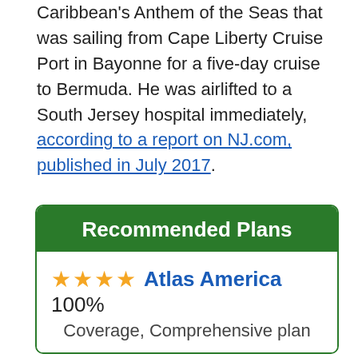Caribbean's Anthem of the Seas that was sailing from Cape Liberty Cruise Port in Bayonne for a five-day cruise to Bermuda. He was airlifted to a South Jersey hospital immediately, according to a report on NJ.com, published in July 2017.
[Figure (other): Recommended Plans box with green header and a plan listing: 4 stars, Atlas America 100% Coverage, Comprehensive plan]